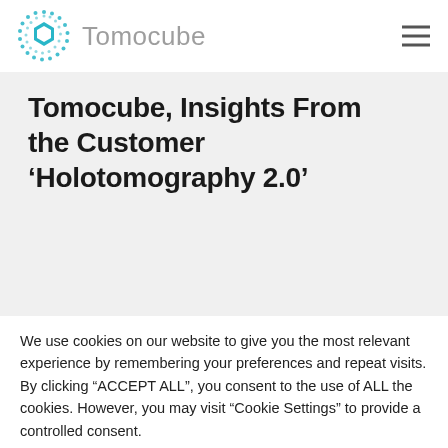Tomocube
Tomocube, Insights From the Customer ‘Holotomography 2.0’
We use cookies on our website to give you the most relevant experience by remembering your preferences and repeat visits. By clicking “ACCEPT ALL”, you consent to the use of ALL the cookies. However, you may visit “Cookie Settings” to provide a controlled consent.
Cookie Settings   REJECT ALL   ACCEPT ALL